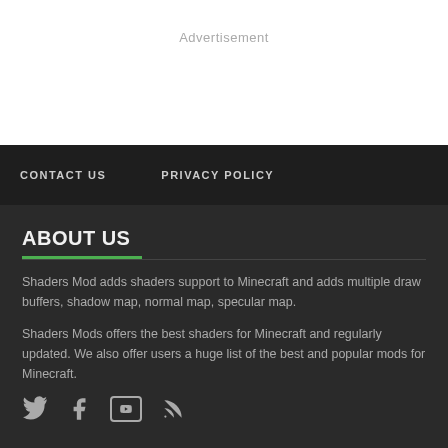Advertisement
CONTACT US   PRIVACY POLICY
ABOUT US
Shaders Mod adds shaders support to Minecraft and adds multiple draw buffers, shadow map, normal map, specular map.
Shaders Mods offers the best shaders for Minecraft and regularly updated. We also offer users a huge list of the best and popular mods for Minecraft.
[Figure (other): Social media icons: Twitter, Facebook, YouTube, RSS feed]